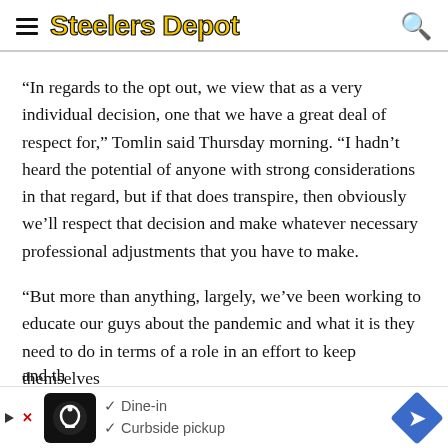Steelers Depot
“In regards to the opt out, we view that as a very individual decision, one that we have a great deal of respect for,” Tomlin said Thursday morning. “I hadn’t heard the potential of anyone with strong considerations in that regard, but if that does transpire, then obviously we’ll respect that decision and make whatever necessary professional adjustments that you have to make.
“But more than anything, largely, we’ve been working to educate our guys about the pandemic and what it is they need to do in terms of a role in an effort to keep themselves and th…
[Figure (other): Advertisement banner at the bottom showing a restaurant ad with Dine-in and Curbside pickup checkmarks, a logo and a blue arrow icon.]